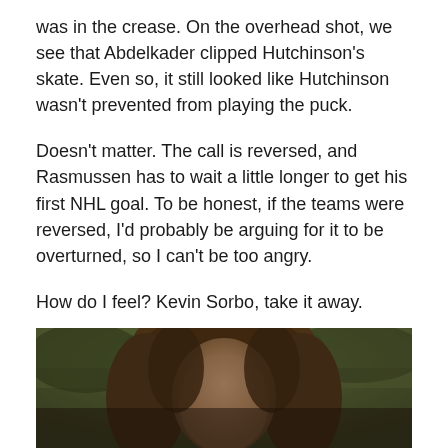was in the crease. On the overhead shot, we see that Abdelkader clipped Hutchinson's skate. Even so, it still looked like Hutchinson wasn't prevented from playing the puck.
Doesn't matter. The call is reversed, and Rasmussen has to wait a little longer to get his first NHL goal. To be honest, if the teams were reversed, I'd probably be arguing for it to be overturned, so I can't be too angry.
How do I feel? Kevin Sorbo, take it away.
[Figure (photo): A blurry still from a video showing a person with long brown hair in the foreground, with a green outdoor background.]